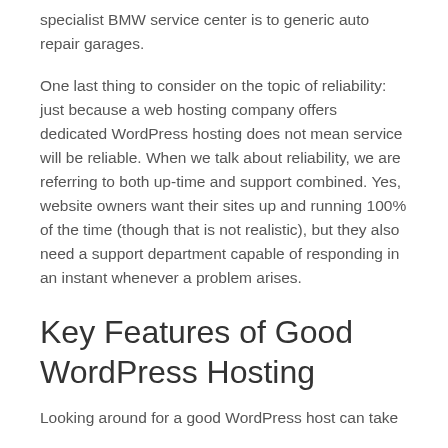specialist BMW service center is to generic auto repair garages.
One last thing to consider on the topic of reliability: just because a web hosting company offers dedicated WordPress hosting does not mean service will be reliable. When we talk about reliability, we are referring to both up-time and support combined. Yes, website owners want their sites up and running 100% of the time (though that is not realistic), but they also need a support department capable of responding in an instant whenever a problem arises.
Key Features of Good WordPress Hosting
Looking around for a good WordPress host can take